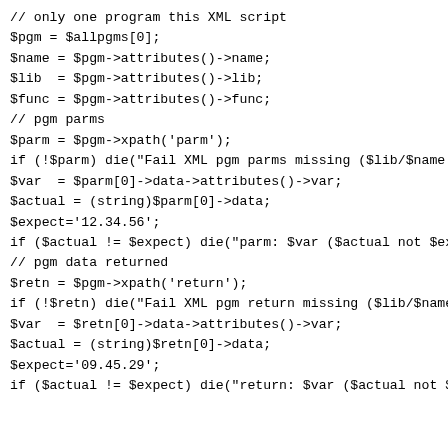// only one program this XML script
$pgm = $allpgms[0];
$name = $pgm->attributes()->name;
$lib  = $pgm->attributes()->lib;
$func = $pgm->attributes()->func;
// pgm parms
$parm = $pgm->xpath('parm');
if (!$parm) die("Fail XML pgm parms missing ($lib/$name.S
$var  = $parm[0]->data->attributes()->var;
$actual = (string)$parm[0]->data;
$expect='12.34.56';
if ($actual != $expect) die("parm: $var ($actual not $exp
// pgm data returned
$retn = $pgm->xpath('return');
if (!$retn) die("Fail XML pgm return missing ($lib/$name
$var  = $retn[0]->data->attributes()->var;
$actual = (string)$retn[0]->data;
$expect='09.45.29';
if ($actual != $expect) die("return: $var ($actual not $e